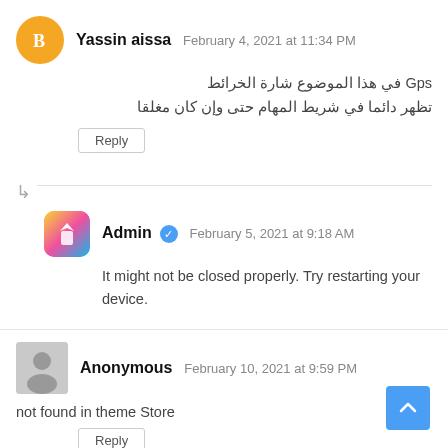Yassin aissa — February 4, 2021 at 11:34 PM
Gps في هذا الموضوع شارة الخرائط تظهر دائما في شريط المهام حتى وإن كان مغلقا
Reply
Admin ✔ February 5, 2021 at 9:18 AM
It might not be closed properly. Try restarting your device.
Anonymous — February 10, 2021 at 9:59 PM
not found in theme Store
Reply
Admin ✔ February 10, 2021 at 10:02 PM